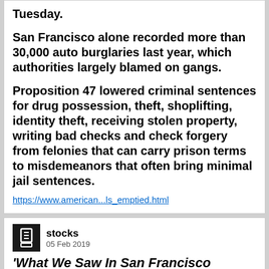Tuesday.
San Francisco alone recorded more than 30,000 auto burglaries last year, which authorities largely blamed on gangs.
Proposition 47 lowered criminal sentences for drug possession, theft, shoplifting, identity theft, receiving stolen property, writing bad checks and check forgery from felonies that can carry prison terms to misdemeanors that often bring minimal jail sentences.
https://www.american...ls_emptied.html
stocks
05 Feb 2019
'What We Saw In San Francisco